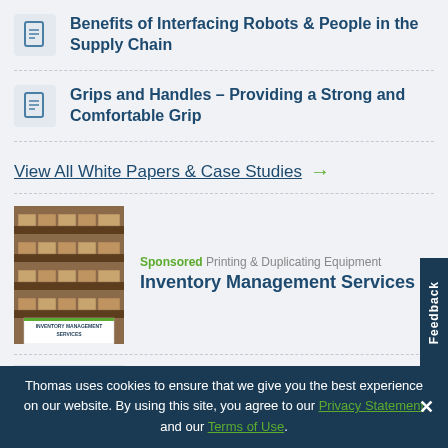Benefits of Interfacing Robots & People in the Supply Chain
Grips and Handles – Providing a Strong and Comfortable Grip
View All White Papers & Case Studies →
[Figure (other): Thumbnail image of Inventory Management Services whitepaper showing warehouse shelves with boxes]
Sponsored Printing & Duplicating Equipment
Inventory Management Services
[Figure (other): Thumbnail image of Polymer Protection For whitepaper]
Sponsored Electronic Components & Devices
Thomas uses cookies to ensure that we give you the best experience on our website. By using this site, you agree to our Privacy Statement and our Terms of Use.